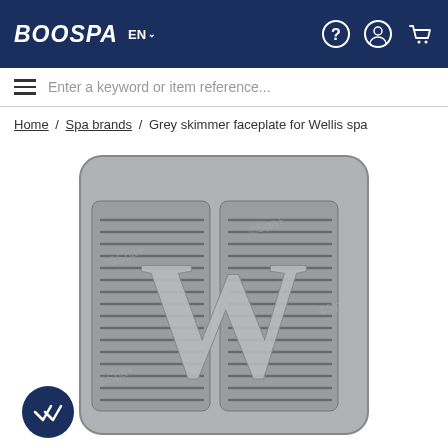BOOSPA EN — navigation header with help, account, cart icons
Enter a keyword or item reference...
Home / Spa brands / Grey skimmer faceplate for Wellis spa
[Figure (photo): Grey skimmer faceplate for Wellis spa — a grey plastic rectangular faceplate with horizontal grill slats and a large embossed W logo in the center, with watermarks overlaid.]